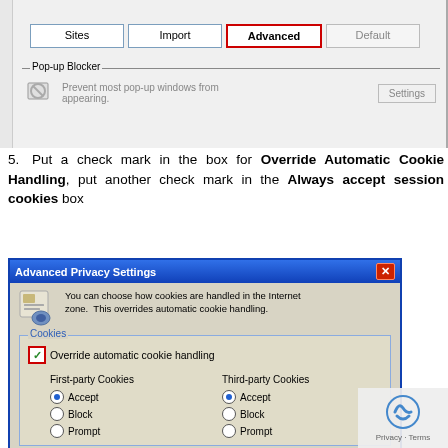[Figure (screenshot): Windows Internet Explorer Privacy settings dialog showing four buttons: Sites, Import, Advanced (highlighted with red border), Default. Below is the Pop-up Blocker section with a Settings button.]
5. Put a check mark in the box for Override Automatic Cookie Handling, put another check mark in the Always accept session cookies box
[Figure (screenshot): Advanced Privacy Settings dialog showing cookie handling options. Override automatic cookie handling checkbox is checked (highlighted with red border). First-party Cookies and Third-party Cookies columns each show Accept (selected), Block, Prompt radio buttons.]